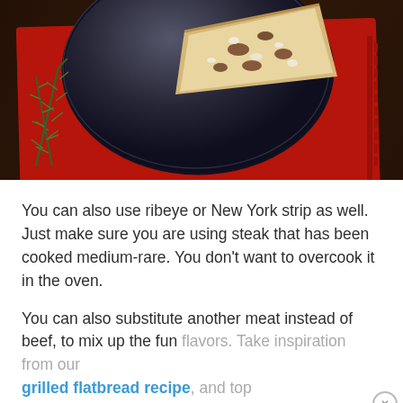[Figure (photo): A flatbread/pizza slice on a dark navy plate placed on a red cloth napkin on a dark wooden table. Rosemary sprigs are visible on the left side.]
You can also use ribeye or New York strip as well. Just make sure you are using steak that has been cooked medium-rare. You don't want to overcook it in the oven.
You can also substitute another meat instead of beef, to mix up the fun flavors. Take inspiration from our grilled flatbread recipe, and top